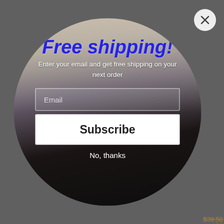[Figure (photo): E-commerce popup modal with circular shape showing a woman in a black lace satin slip dress, on a dimmed background. A close (X) button is in the top right corner.]
Free shipping!
Enter your email and get free shipping on your next order
Email
Subscribe
No, thanks
$39.50